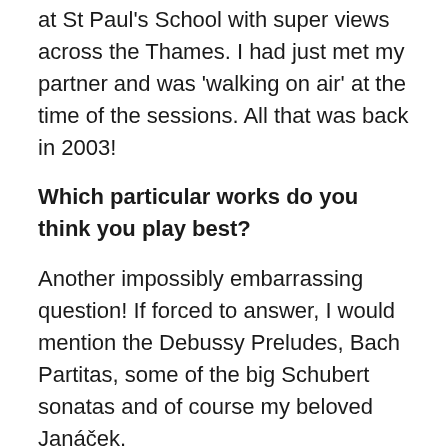at St Paul's School with super views across the Thames. I had just met my partner and was 'walking on air' at the time of the sessions. All that was back in 2003!
Which particular works do you think you play best?
Another impossibly embarrassing question! If forced to answer, I would mention the Debussy Preludes, Bach Partitas, some of the big Schubert sonatas and of course my beloved Janáček.
How do you make your repertoire choices